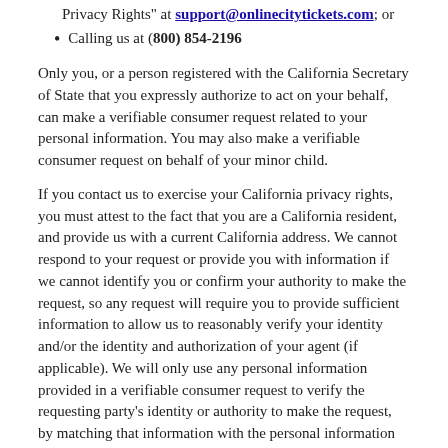Privacy Rights" at support@onlinecitytickets.com; or
Calling us at (800) 854-2196
Only you, or a person registered with the California Secretary of State that you expressly authorize to act on your behalf, can make a verifiable consumer request related to your personal information. You may also make a verifiable consumer request on behalf of your minor child.
If you contact us to exercise your California privacy rights, you must attest to the fact that you are a California resident, and provide us with a current California address. We cannot respond to your request or provide you with information if we cannot identify you or confirm your authority to make the request, so any request will require you to provide sufficient information to allow us to reasonably verify your identity and/or the identity and authorization of your agent (if applicable). We will only use any personal information provided in a verifiable consumer request to verify the requesting party's identity or authority to make the request, by matching that information with the personal information we already have about you. If you have an account on the Site, we will also verify your identity using our standard authentication practices for your account.
We will respond to a verifiable consumer request in the